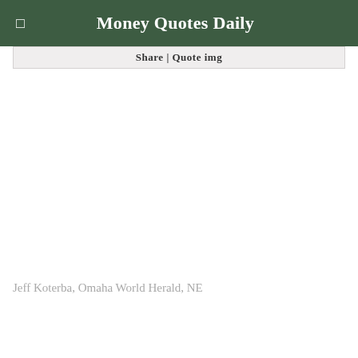Money Quotes Daily
Share | Quote img
Jeff Koterba, Omaha World Herald, NE